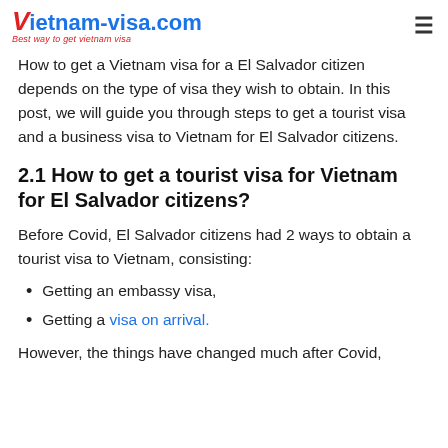vietnam-visa.com Best way to get vietnam visa
How to get a Vietnam visa for a El Salvador citizen depends on the type of visa they wish to obtain. In this post, we will guide you through steps to get a tourist visa and a business visa to Vietnam for El Salvador citizens.
2.1 How to get a tourist visa for Vietnam for El Salvador citizens?
Before Covid, El Salvador citizens had 2 ways to obtain a tourist visa to Vietnam, consisting:
Getting an embassy visa,
Getting a visa on arrival.
However, the things have changed much after Covid,